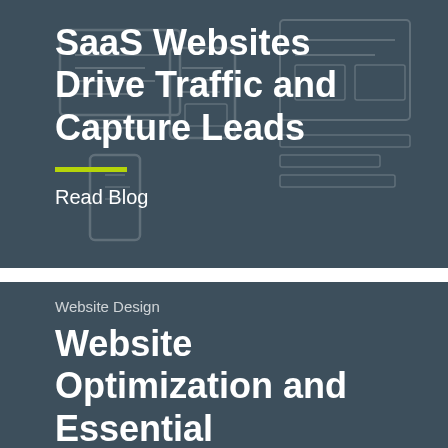[Figure (illustration): Dark teal/slate background with faint wireframe UI sketches overlay. Contains bold white title text 'SaaS Websites Drive Traffic and Capture Leads', a green horizontal bar, and 'Read Blog' text link.]
SaaS Websites Drive Traffic and Capture Leads
Read Blog
[Figure (illustration): Dark teal/slate background card. Contains category label 'Website Design' and bold white title text 'Website Optimization and Essential'.]
Website Design
Website Optimization and Essential